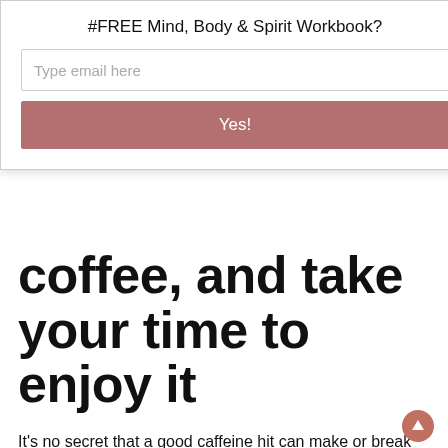#FREE Mind, Body & Spirit Workbook?
Type email here
Yes!
coffee, and take your time to enjoy it
It's no secret that a good caffeine hit can make or break the start of the day. Coffee has a plethora of benefits to support healthy brain function; specifically memory, mood, energy levels, and reaction times. But don't rush this part of the morning – it's important to take the time to enjoy the process and savour the flavour.
Whether you brew your coffee in a Moka pot,